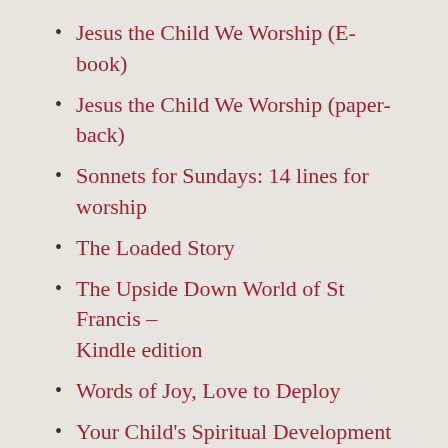Jesus the Child We Worship (E-book)
Jesus the Child We Worship (paper-back)
Sonnets for Sundays: 14 lines for worship
The Loaded Story
The Upside Down World of St Francis – Kindle edition
Words of Joy, Love to Deploy
Your Child's Spiritual Development
RESOURCES
Franciscan Documents
My library on LibraryThing
The Loaded Story